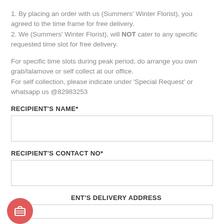1. By placing an order with us (Summers' Winter Florist), you agreed to the time frame for free delivery.
2. We (Summers' Winter Florist), will NOT cater to any specific requested time slot for free delivery.
For specific time slots during peak period, do arrange you own grab/lalamove or self collect at our office.
For self collection, please indicate under 'Special Request' or whatsapp us @82983253
RECIPIENT'S NAME*
RECIPIENT'S CONTACT NO*
RECIPIENT'S DELIVERY ADDRESS